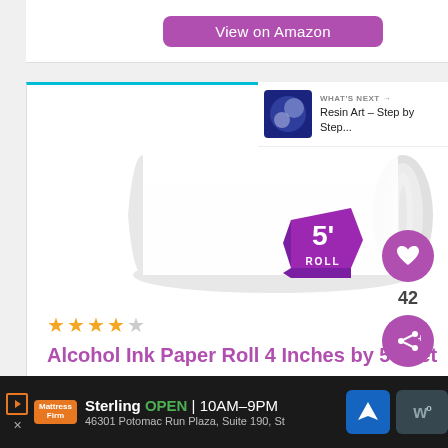[Figure (screenshot): Partial product card with 'View on Amazon' purple button at top]
[Figure (photo): Alcohol Ink Paper Roll product image - white roll with purple '5 ROLL' label sticker]
★★★★☆ (star rating, approximately 4 stars)
Alcohol Ink Paper Roll 4 Inches by 5 Feet
$27.99 ✓ prime
[Figure (screenshot): View on Amazon purple button]
42
WHAT'S NEXT → Resin Art – Step by Step...
Sterling OPEN | 10AM–9PM 46301 Potomac Run Plaza, Suite 190, St